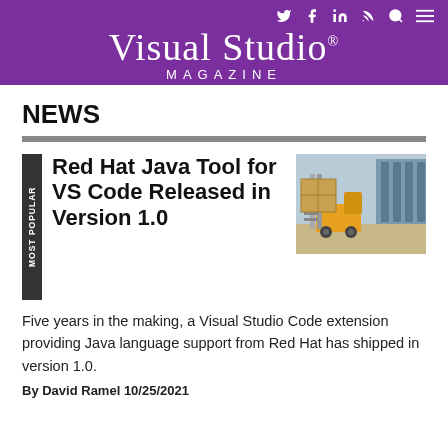Visual Studio Magazine
NEWS
Red Hat Java Tool for VS Code Released in Version 1.0
[Figure (photo): Forklift carrying large boxes in a warehouse]
Five years in the making, a Visual Studio Code extension providing Java language support from Red Hat has shipped in version 1.0.
By David Ramel 10/25/2021